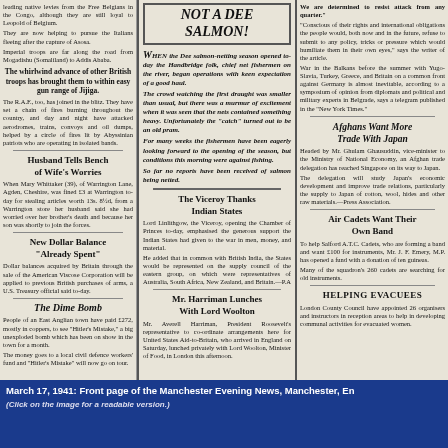leading native levies from the Free Belgians in the Congo, although they are still loyal to Leopold of Belgium. They are now helping to pursue the Italians fleeing after the capture of Asosa. Imperial troops are far along the road from Mogadishu (Somaliland) to Addis Ababa.
The whirlwind advance of other British troops has brought them to within easy gun range of Jijiga.
The R.A.F., too, has joined in the blitz. They have set a chain of fires burning throughout the country, and day and night have attacked aerodromes, trains, convoys and oil dumps, helped by a circle of fires lit by Abyssinian patriots who are operating in isolated bands.
Husband Tells Bench of Wife's Worries
When Mary Whittaker (39), of Warrington Lane, Agden, Cheshire, was fined £3 at Warrington to-day for stealing articles worth 13s. 8½d, from a Warrington store her husband said she had worried over her brother's death and because her son was shortly to join the forces.
New Dollar Balance "Already Spent"
Dollar balances acquired by Britain through the sale of the American Viscose Corporation will be applied to previous British purchases of arms, a U.S. Treasury official said to-day.
The Dime Bomb
People of an East Anglian town have paid £272, mostly in coppers, to see "Hitler's Mistake," a big unexploded bomb which has been on show in the town for a month. The money goes to a local civil defence workers' fund and "Hitler's Mistake" will now go on tour.
NOT A DEE SALMON!
WHEN the Dee salmon-netting season opened to-day the Handbridge folk, chief net fishermen on the river, began operations with keen expectation of a good haul. The crowd watching the first draught was smaller than usual, but there was a murmur of excitement when it was seen that the nets contained something heavy. Unfortunately the "catch" turned out to be an old pram. For many weeks the fishermen have been eagerly looking forward to the opening of the season, but conditions this morning were against fishing. So far no reports have been received of salmon being netted.
The Viceroy Thanks Indian States
Lord Linlithgow, the Viceroy, opening the Chamber of Princes to-day, emphasised the generous support the Indian States had given to the war in men, money, and material. He added that in common with British India, the States would be represented on the supply council of the eastern group, on which were representatives of Australia, South Africa, New Zealand, and Britain.—P.A
Mr. Harriman Lunches With Lord Woolton
Mr. Averell Harriman, President Roosevelt's representative to co-ordinate arrangements here for United States Aid-to-Britain, who arrived in England on Saturday, lunched privately with Lord Woolton, Minister of Food, in London this afternoon.
We are determined to resist attack from any quarter. "Conscious of their rights and international obligations the people would, both now and in the future, refuse to submit to any policy, tricks or pressure which would humiliate them in their own eyes," says the writer of the article. War in the Balkans before the summer with Yugo-Slavia, Turkey, Greece, and Britain on a common front against Germany is almost inevitable, according to a symposium of opinion from diplomats and political and military experts in Belgrade, says a telegram published in the "New York Times."
Afghans Want More Trade With Japan
Headed by Mr. Ghulam Ghausuddin, vice-minister to the Ministry of National Economy, an Afghan trade delegation has reached Singapore on its way to Japan. The delegation will study Japan's economic development and improve trade relations, particularly the supply to Japan of cotton, wool, hides and other raw materials.—Press Association.
Air Cadets Want Their Own Band
To help Salford A.T.C. Cadets, who are forming a band and want £100 for instruments, Mr. J. F. Emery, M.P. has opened a fund with a donation of ten guineas. Many of the squadron's 260 cadets are searching for old instruments.
HELPING EVACUEES
London County Council have appointed 26 organisers and instructors in reception areas to help in developing communal activities for evacuated women.
March 17, 1941: Front page of the Manchester Evening News, Manchester, England
(Click on the image for a readable version.)